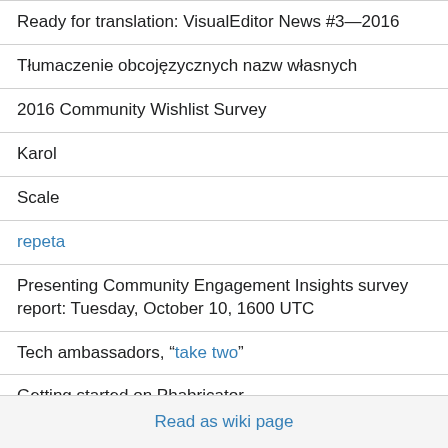Ready for translation: VisualEditor News #3—2016
Tłumaczenie obcojęzycznych nazw własnych
2016 Community Wishlist Survey
Karol
Scale
repeta
Presenting Community Engagement Insights survey report: Tuesday, October 10, 1600 UTC
Tech ambassadors, "take two"
Getting started on Phabricator
Read as wiki page